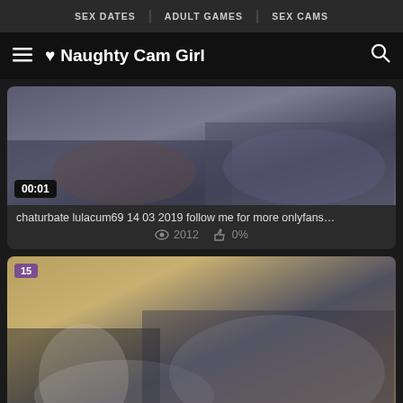SEX DATES  ADULT GAMES  SEX CAMS
♥ Naughty Cam Girl
[Figure (screenshot): Video thumbnail showing adult content, timestamp 00:01 in lower left]
chaturbate lulacum69 14 03 2019 follow me for more onlyfans…
2012  0%
[Figure (screenshot): Video thumbnail showing people on a couch, channel number 15 in upper left]